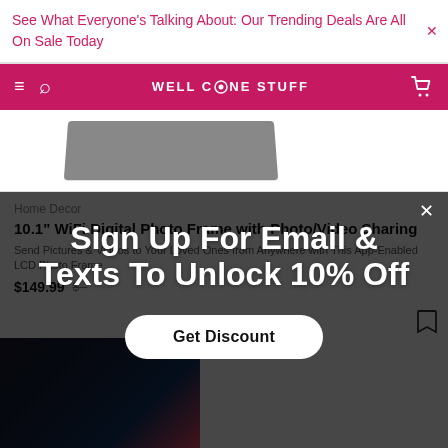See What Everyone's Talking About: Our Trending Deals Are All On Sale Today
WELL DONE STUFF
[Figure (screenshot): Partial product image showing a dark angled device (digital photo frame) against white background]
Home Decor
10.1" WiFi Digital Photo Frame with Photo/Video Sharing
Send Pictures & Videos to Your Loved Ones from Anywhere with This App-Enabled LCD Photo Frame
$149.99  $--
Sign Up For Email & Texts To Unlock 10% Off
Get Discount
[Figure (photo): Product thumbnail showing digital photo frame displaying colorful photo]